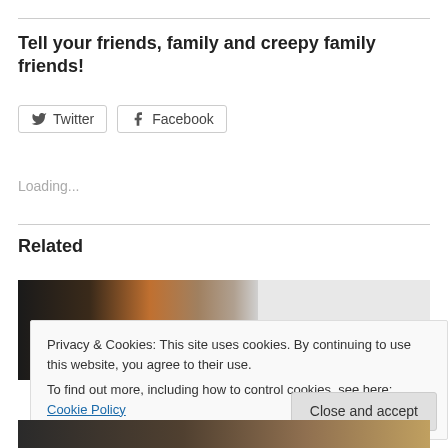Tell your friends, family and creepy family friends!
[Figure (screenshot): Twitter and Facebook social share buttons]
Loading...
Related
[Figure (photo): Row of dog portraits, followed by gray placeholder block]
Privacy & Cookies: This site uses cookies. By continuing to use this website, you agree to their use.
To find out more, including how to control cookies, see here: Cookie Policy
Close and accept
[Figure (photo): Bottom strip showing partial dog/animal images]